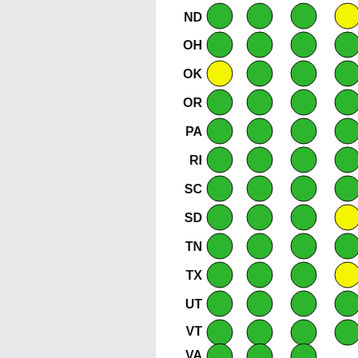[Figure (infographic): State compliance status table showing US state abbreviations (ND, OH, OK, OR, PA, RI, SC, SD, TN, TX, UT, VT, VA) with colored dots (green or yellow) indicating status across 4 columns. Left side is a gray panel, right side is white with state rows.]